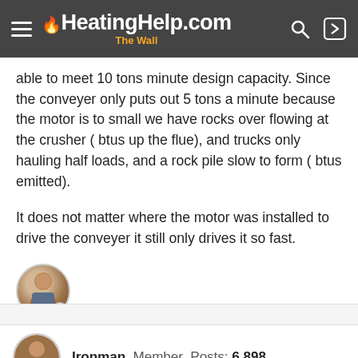HeatingHelp.com The Wall
able to meet 10 tons minute design capacity. Since the conveyer only puts out 5 tons a minute because the motor is to small we have rocks over flowing at the crusher ( btus up the flue), and trucks only hauling half loads, and a rock pile slow to form ( btus emitted).
It does not matter where the motor was installed to drive the conveyer it still only drives it so fast.
[Figure (photo): User avatar photo - circular profile picture of a person]
Ironman  Member  Posts: 6,898